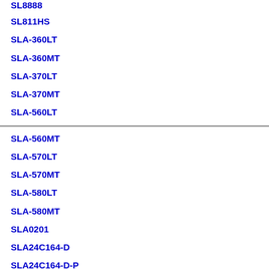SL8888
SL811HS
SLA-360LT
SLA-360MT
SLA-370LT
SLA-370MT
SLA-560LT
SLA-560MT
SLA-570LT
SLA-570MT
SLA-580LT
SLA-580MT
SLA0201
SLA24C164-D
SLA24C164-D-P